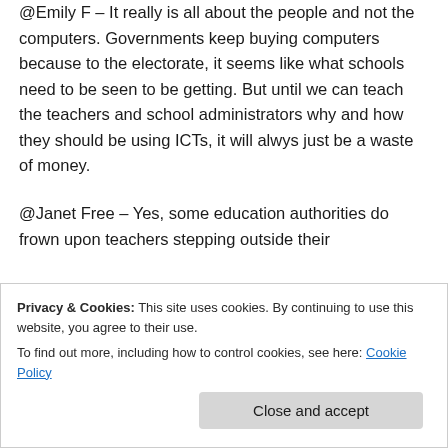@Emily F – It really is all about the people and not the computers. Governments keep buying computers because to the electorate, it seems like what schools need to be seen to be getting. But until we can teach the teachers and school administrators why and how they should be using ICTs, it will alwys just be a waste of money.
@Janet Free – Yes, some education authorities do frown upon teachers stepping outside their defined boundaries, but the point is that in referring to contexts, teachers will hide behind
Privacy & Cookies: This site uses cookies. By continuing to use this website, you agree to their use. To find out more, including how to control cookies, see here: Cookie Policy